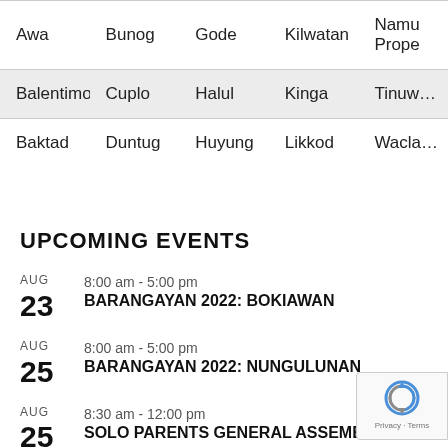| Awa | Bunog | Gode | Kilwatan | Namu... Prope... |
| --- | --- | --- | --- | --- |
| Balentimol | Cuplo | Halul | Kinga | Tinuw... |
| Baktad | Duntug | Huyung | Likkod | Wacla... |
UPCOMING EVENTS
AUG 23 | 8:00 am - 5:00 pm | BARANGAYAN 2022: BOKIAWAN
AUG 25 | 8:00 am - 5:00 pm | BARANGAYAN 2022: NUNGULUNAN
AUG 25 | 8:30 am - 12:00 pm | SOLO PARENTS GENERAL ASSEMBLY
AUG (next) | 8:30 am - 12:00 pm